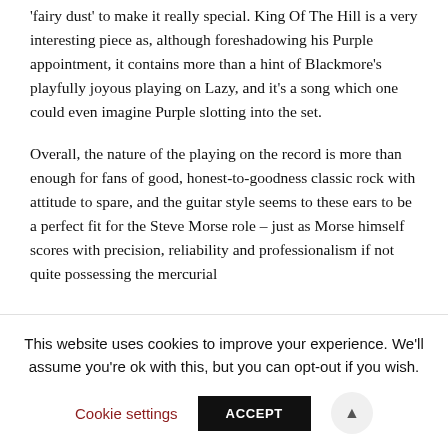'fairy dust' to make it really special. King Of The Hill is a very interesting piece as, although foreshadowing his Purple appointment, it contains more than a hint of Blackmore's playfully joyous playing on Lazy, and it's a song which one could even imagine Purple slotting into the set.
Overall, the nature of the playing on the record is more than enough for fans of good, honest-to-goodness classic rock with attitude to spare, and the guitar style seems to these ears to be a perfect fit for the Steve Morse role – just as Morse himself scores with precision, reliability and professionalism if not quite possessing the mercurial
This website uses cookies to improve your experience. We'll assume you're ok with this, but you can opt-out if you wish.
Cookie settings | ACCEPT